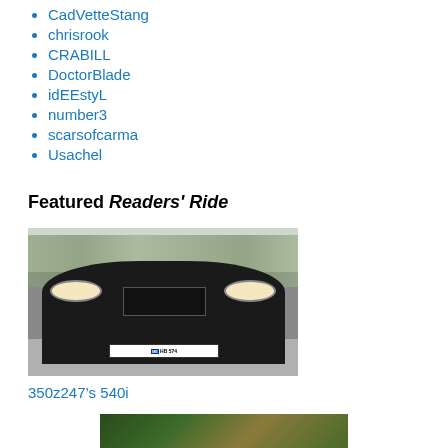CadVetteStang
chrisrook
CRABILL
DoctorBlade
idEEstyL
number3
scarsofcarma
Usachel
Featured Readers' Ride
[Figure (photo): Front view of a black BMW 5-series (E39 540i) with license plate ME HB 574, parked in a lot with trees in the background]
350z247's 540i
[Figure (photo): Partial view of another vehicle, green/outdoor setting]